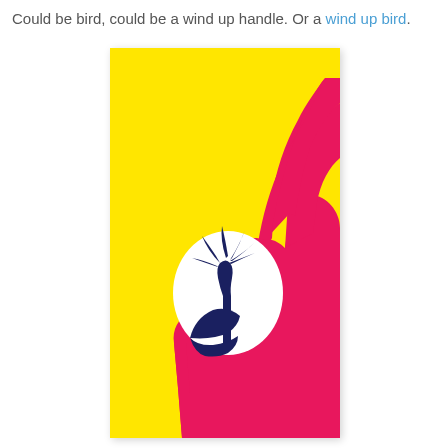Could be bird, could be a wind up handle. Or a wind up bird.
[Figure (illustration): Colorful graphic illustration showing a red/pink hand making an OK gesture against a bright yellow background. The circle formed by the thumb and index finger contains a white oval with a dark blue palm tree silhouette, resembling a bird's eye. A dark blue beak shape appears at the bottom of the circle, making the whole composition look like a parrot or bird head. The hand simultaneously reads as a wind-up handle.]